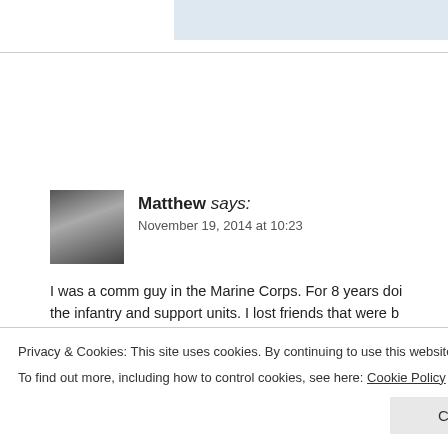[Figure (photo): Small grayscale avatar photo of a person, appears to be a military/outdoor setting]
Matthew says:
November 19, 2014 at 10:23
I was a comm guy in the Marine Corps. For 8 years doing the infantry and support units. I lost friends that were b… are all of you winning like a bunch of bitches about wh… stupid names. For the non – infantry guys, quit bitching…
Privacy & Cookies: This site uses cookies. By continuing to use this website, you agree to their use.
To find out more, including how to control cookies, see here: Cookie Policy
Close and accept